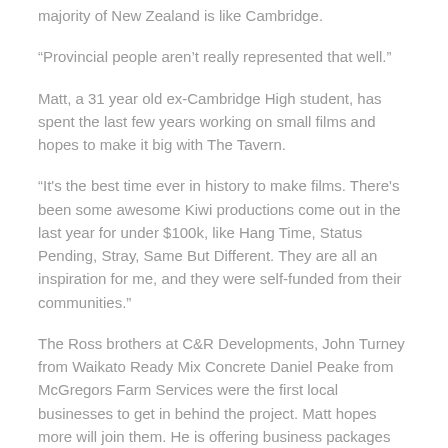majority of New Zealand is like Cambridge.
“Provincial people aren’t really represented that well.”
Matt, a 31 year old ex-Cambridge High student, has spent the last few years working on small films and hopes to make it big with The Tavern.
“It’s the best time ever in history to make films. There’s been some awesome Kiwi productions come out in the last year for under $100k, like Hang Time, Status Pending, Stray, Same But Different. They are all an inspiration for me, and they were self-funded from their communities.”
The Ross brothers at C&R Developments, John Turney from Waikato Ready Mix Concrete Daniel Peake from McGregors Farm Services were the first local businesses to get in behind the project. Matt hopes more will join them. He is offering business packages including videos, premiere perks and shares in the film.
All going to plan, he hopes to have the film completed by